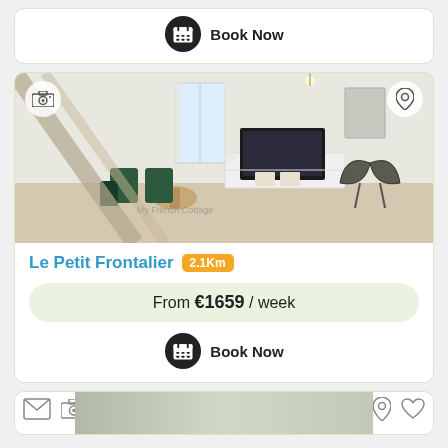[Figure (screenshot): Partial top listing card showing a Book Now button with calendar icon]
[Figure (photo): Interior photo of Le Petit Frontalier apartment showing living/dining area with green chairs, TV unit, and butterfly chair]
Le Petit Frontalier 2.1Km
From €1659 / week
Book Now
[Figure (screenshot): Partial bottom listing card showing icons for email, camera, map pin, and heart]